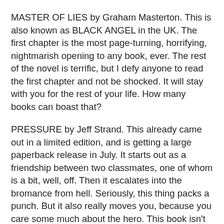MASTER OF LIES by Graham Masterton. This is also known as BLACK ANGEL in the UK. The first chapter is the most page-turning, horrifying, nightmarish opening to any book, ever. The rest of the novel is terrific, but I defy anyone to read the first chapter and not be shocked. It will stay with you for the rest of your life. How many books can boast that?
PRESSURE by Jeff Strand. This already came out in a limited edition, and is getting a large paperback release in July. It starts out as a friendship between two classmates, one of whom is a bit, well, off. Then it escalates into the bromance from hell. Seriously, this thing packs a punch. But it also really moves you, because you care some much about the hero. This book isn't for the faint-hearted, but if you think you're tough enough, this may be the greatest serial killer novel ever written.
Of course, I encourage all fans of horror to check out the paperback release of Afraid, which comes out in both the US and the UK in just a few weeks. You can read the first fifty pages at www.JackKilborn.com. But only do it if you're